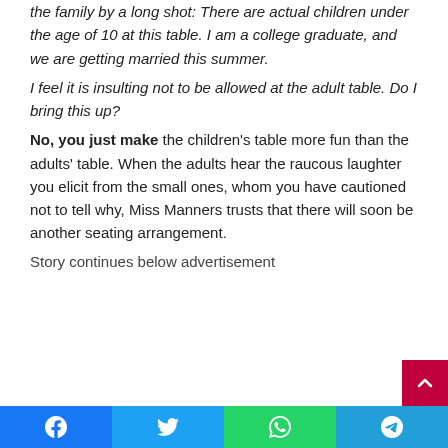the family by a long shot: There are actual children under the age of 10 at this table. I am a college graduate, and we are getting married this summer.
I feel it is insulting not to be allowed at the adult table. Do I bring this up?
No, you just make the children's table more fun than the adults' table. When the adults hear the raucous laughter you elicit from the small ones, whom you have cautioned not to tell why, Miss Manners trusts that there will soon be another seating arrangement.
Story continues below advertisement